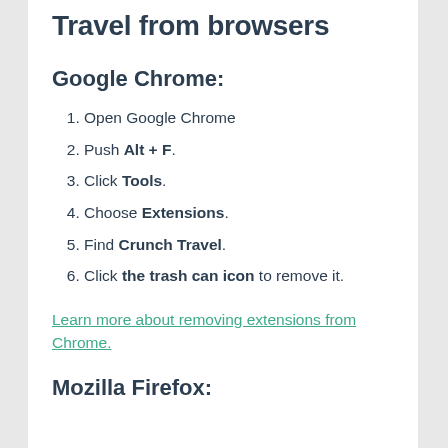Travel from browsers
Google Chrome:
Open Google Chrome
Push Alt + F.
Click Tools.
Choose Extensions.
Find Crunch Travel.
Click the trash can icon to remove it.
Learn more about removing extensions from Chrome.
Mozilla Firefox: